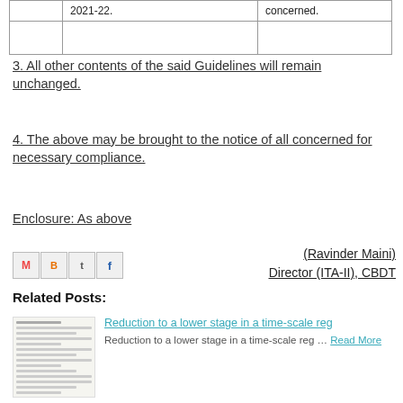| 2021-22. | concerned. |
3. All other contents of the said Guidelines will remain unchanged.
4. The above may be brought to the notice of all concerned for necessary compliance.
Enclosure: As above
(Ravinder Maini)
Director (ITA-II), CBDT
[Figure (other): Social media share icons: M (Gmail/Email), B (Blogger), t (Twitter), f (Facebook)]
Related Posts:
[Figure (photo): Thumbnail image of a document page related to the post]
Reduction to a lower stage in a time-scale reg
Reduction to a lower stage in a time-scale reg … Read More